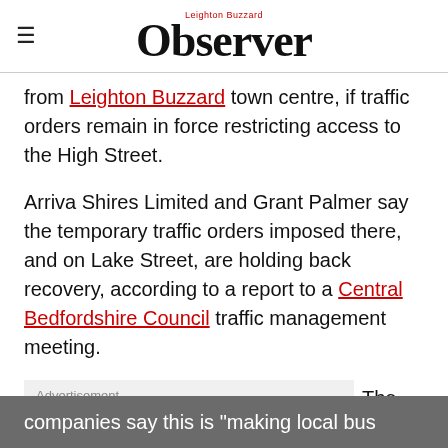Leighton Buzzard Observer
from Leighton Buzzard town centre, if traffic orders remain in force restricting access to the High Street.
Arriva Shires Limited and Grant Palmer say the temporary traffic orders imposed there, and on Lake Street, are holding back recovery, according to a report to a Central Bedfordshire Council traffic management meeting.
Advertisement  The companies say this is "making local bus